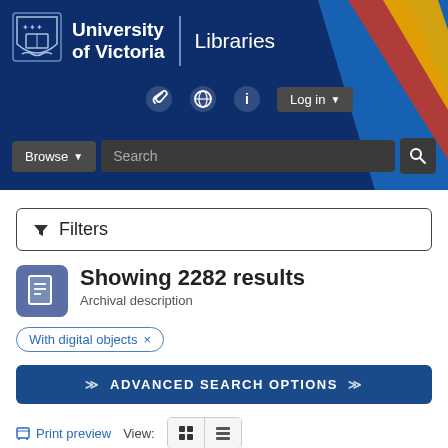[Figure (screenshot): University of Victoria Libraries website header with logo, navigation icons, Browse dropdown, and Search bar on dark blue background with diagonal color stripes (blue, red, yellow)]
Filters
Showing 2282 results
Archival description
With digital objects ×
ADVANCED SEARCH OPTIONS
Print preview  View: